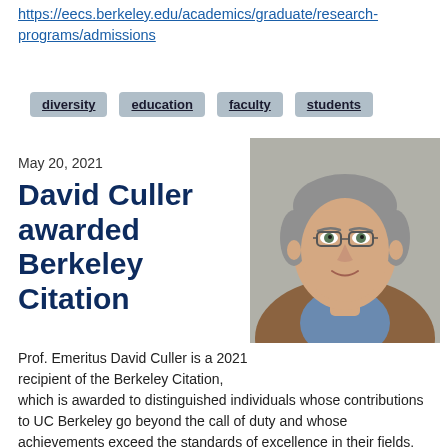https://eecs.berkeley.edu/academics/graduate/research-programs/admissions
diversity
education
faculty
students
May 20, 2021
David Culler awarded Berkeley Citation
[Figure (photo): Portrait photo of David Culler, a middle-aged man with short gray hair wearing glasses and a brown jacket over a blue shirt, photographed against a gray background]
Prof. Emeritus David Culler is a 2021 recipient of the Berkeley Citation, which is awarded to distinguished individuals whose contributions to UC Berkeley go beyond the call of duty and whose achievements exceed the standards of excellence in their fields. Prof. Culler has been on the faculty since 1989 and is the founding Director of Intel Research, UC Berkeley and